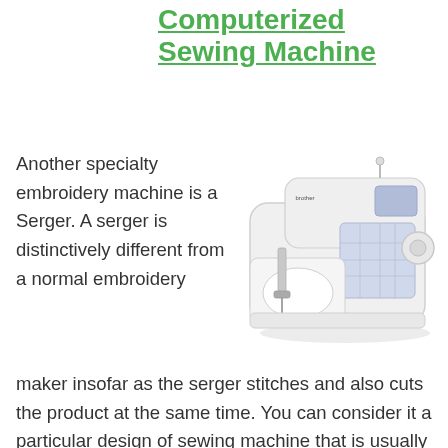Computerized Sewing Machine
[Figure (photo): A white computerized Brother sewing machine photographed on a white background, shown at a slight angle with the needle area, presser foot, LCD display panel, and stitch selector visible.]
Another specialty embroidery machine is a Serger. A serger is distinctively different from a normal embroidery maker insofar as the serger stitches and also cuts the product at the same time. You can consider it a particular design of sewing machine that is usually referred to as an overlock stitching equipment. A serger makes use of 3 or 4 strings to create a locked stitch at a quicker sewing speed. Babylock has been a leader in